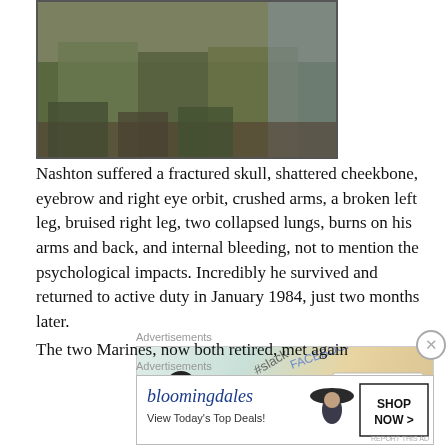[Figure (photo): Photograph of soldiers/military personnel in camouflage gear, partially cropped at top of page]
Nashton suffered a fractured skull, shattered cheekbone, eyebrow and right eye orbit, crushed arms, a broken left leg, bruised right leg, two collapsed lungs, burns on his arms and back, and internal bleeding, not to mention the psychological impacts. Incredibly he survived and returned to active duty in January 1984, just two months later.
[Figure (photo): Advertisement banner: WordPress VIP ad with social media logos (Slack, Facebook) and 'Learn more' button]
The two Marines, now both retired, met again yesterday
[Figure (photo): Advertisement banner: Bloomingdale's 'View Today's Top Deals!' with 'SHOP NOW >' button and woman in hat image]